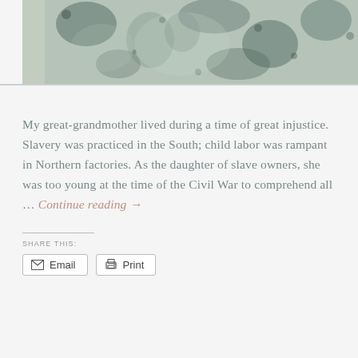[Figure (photo): Photograph of textiles or fabric with mottled blue, grey, green and cream patterns, displayed against a light background.]
My great-grandmother lived during a time of great injustice. Slavery was practiced in the South; child labor was rampant in Northern factories. As the daughter of slave owners, she was too young at the time of the Civil War to comprehend all … Continue reading →
SHARE THIS:
Email
Print